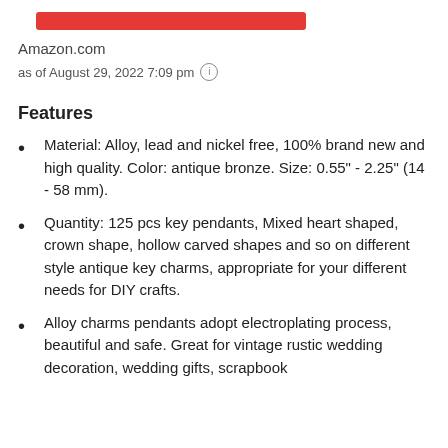[Figure (other): Red horizontal bar/button element]
Amazon.com
as of August 29, 2022 7:09 pm ℹ
Features
Material: Alloy, lead and nickel free, 100% brand new and high quality. Color: antique bronze. Size: 0.55" - 2.25" (14 - 58 mm).
Quantity: 125 pcs key pendants, Mixed heart shaped, crown shape, hollow carved shapes and so on different style antique key charms, appropriate for your different needs for DIY crafts.
Alloy charms pendants adopt electroplating process, beautiful and safe. Great for vintage rustic wedding decoration, wedding gifts, scrapbook